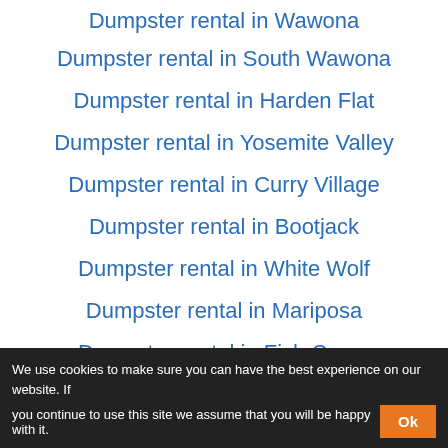Dumpster rental in Wawona
Dumpster rental in South Wawona
Dumpster rental in Harden Flat
Dumpster rental in Yosemite Valley
Dumpster rental in Curry Village
Dumpster rental in Bootjack
Dumpster rental in White Wolf
Dumpster rental in Mariposa
Dumpster rental in Fish Camp
Dumpster rental in Colfax Spring
We use cookies to make sure you can have the best experience on our website. If you continue to use this site we assume that you will be happy with it.